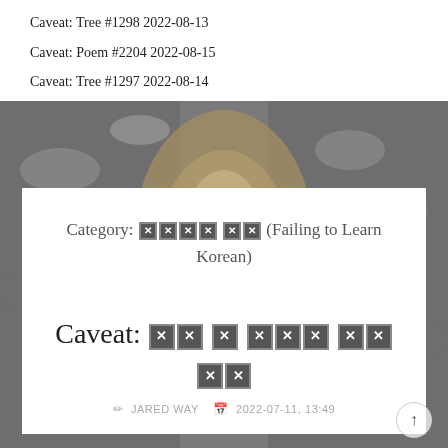Caveat: Tree #1298 2022-08-13
Caveat: Poem #2204 2022-08-15
Caveat: Tree #1297 2022-08-14
[Figure (photo): A rocky riverbed or path with muddy water and scattered stones, viewed from above.]
Category: [Korean characters] (Failing to Learn Korean)
Caveat: [Korean characters]
JARED WAY  2022-07-11, 13:49